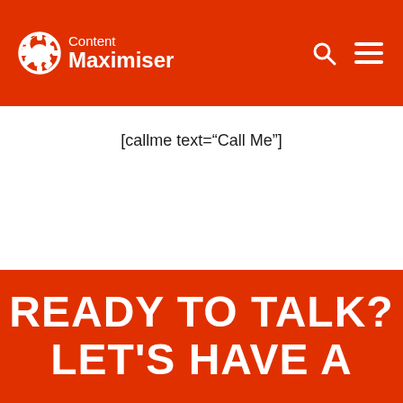[Figure (logo): Content Maximiser logo with gear icon on red header background, with search and menu icons on the right]
[callme text="Call Me"]
READY TO TALK?
LET'S HAVE A